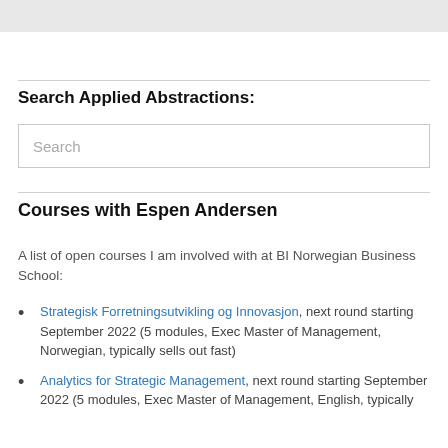Search Applied Abstractions:
Search
Courses with Espen Andersen
A list of open courses I am involved with at BI Norwegian Business School:
Strategisk Forretningsutvikling og Innovasjon, next round starting September 2022 (5 modules, Exec Master of Management, Norwegian, typically sells out fast)
Analytics for Strategic Management, next round starting September 2022 (5 modules, Exec Master of Management, English, typically sells out fast)